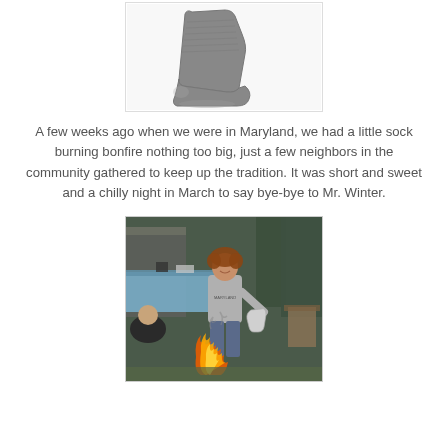[Figure (photo): A gray knitted sock on a white background, shown from the side.]
A few weeks ago when we were in Maryland, we had a little sock burning bonfire nothing too big, just a few neighbors in the community gathered to keep up the tradition. It was short and sweet and a chilly night in March to say bye-bye to Mr. Winter.
[Figure (photo): A woman in a gray hoodie holding socks near a bonfire outdoors, with people seated and a table with a blue tablecloth in the background.]